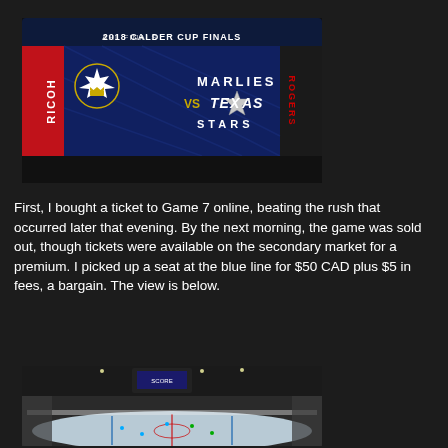[Figure (photo): Arena scoreboard displaying '2018 Calder Cup Finals' with Marlies vs Texas Stars matchup. Ricoh and Rogers branding visible on sides.]
First, I bought a ticket to Game 7 online, beating the rush that occurred later that evening. By the next morning, the game was sold out, though tickets were available on the secondary market for a premium. I picked up a seat at the blue line for $50 CAD plus $5 in fees, a bargain. The view is below.
[Figure (photo): Interior view of hockey arena from seating area showing ice rink, players on ice, arena scoreboard, and crowd in stands.]